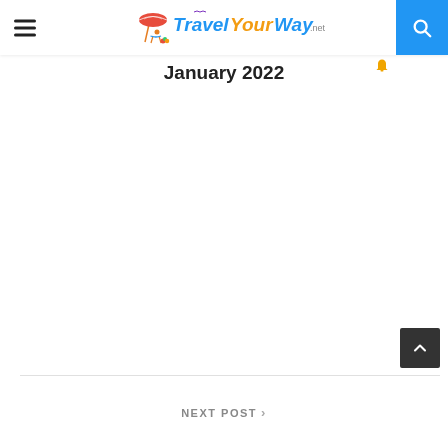Travel Your Way .net
January 2022
NEXT POST >